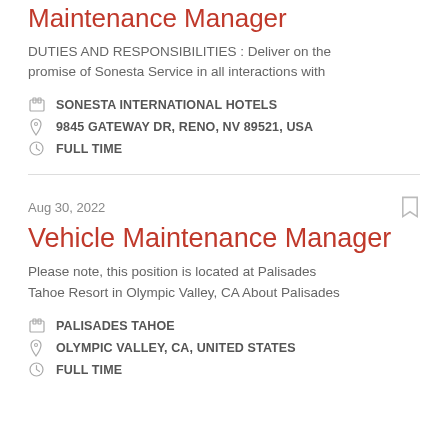Maintenance Manager
DUTIES AND RESPONSIBILITIES : Deliver on the promise of Sonesta Service in all interactions with
SONESTA INTERNATIONAL HOTELS
9845 GATEWAY DR, RENO, NV 89521, USA
FULL TIME
Aug 30, 2022
Vehicle Maintenance Manager
Please note, this position is located at Palisades Tahoe Resort in Olympic Valley, CA About Palisades
PALISADES TAHOE
OLYMPIC VALLEY, CA, UNITED STATES
FULL TIME